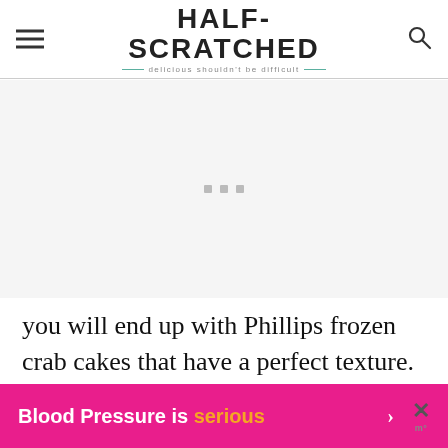HALF-SCRATCHED — delicious shouldn't be difficult
[Figure (other): Advertisement placeholder area with three small gray squares centered on a light gray background]
you will end up with Phillips frozen crab cakes that have a perfect texture. This is one of the methods to use to
[Figure (infographic): Pink banner ad overlay: 'Blood Pressure is serious' with orange word 'serious', right arrow, and close X button with Mediavine logo]